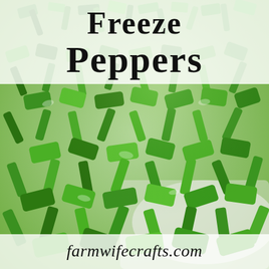[Figure (photo): Close-up photograph of freshly chopped green bell peppers on a white cutting board, filling the entire page background.]
Freeze Peppers
farmwifecrafts.com